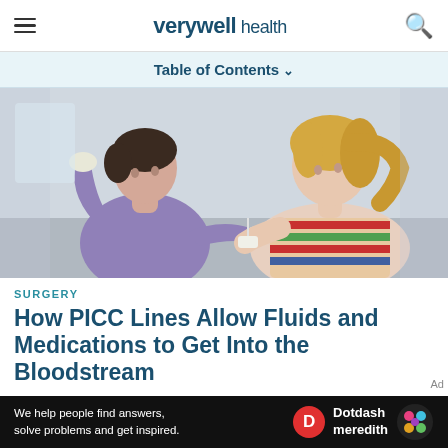verywell health
Table of Contents
[Figure (photo): A nurse in purple scrubs attends to a female patient's arm, likely inserting or adjusting a PICC line, in a clinical setting.]
SURGERY
How PICC Lines Allow Fluids and Medications to Get Into the Bloodstream
We help people find answers, solve problems and get inspired. Dotdash meredith